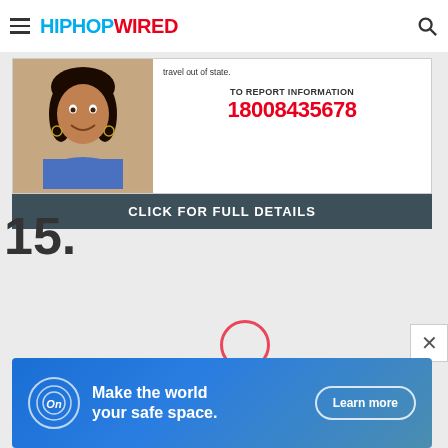HIPHOPWIRED
[Figure (photo): Missing person flyer showing a young woman smiling, with text 'travel out of state.', 'TO REPORT INFORMATION', '18008435678', and 'CLICK FOR FULL DETAILS']
travel out of state.
TO REPORT INFORMATION
18008435678
CLICK FOR FULL DETAILS
15.
[Figure (screenshot): Advertisement banner: OnStar logo with text 'Make the world your safe space.' and 'Learn more' button]